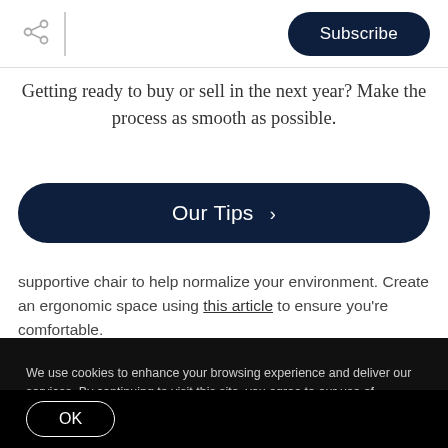Subscribe
Getting ready to buy or sell in the next year? Make the process as smooth as possible.
Our Tips ›
supportive chair to help normalize your environment. Create an ergonomic space using this article to ensure you're comfortable.
[Figure (photo): Dark teal to black gradient image strip]
We use cookies to enhance your browsing experience and deliver our services. By continuing to visit this site, you agree to our use of cookies. More info
OK